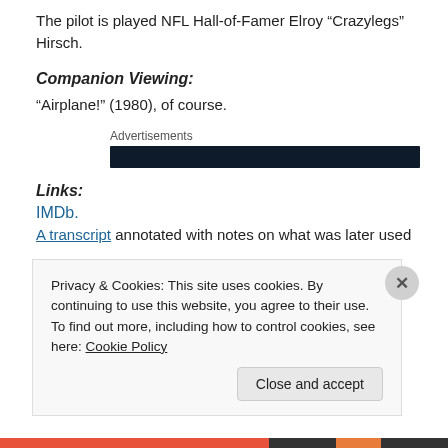The pilot is played NFL Hall-of-Famer Elroy “Crazylegs” Hirsch.
Companion Viewing:
“Airplane!” (1980), of course.
[Figure (other): Advertisements bar — dark navy rectangle below label 'Advertisements']
Links:
IMDb.
A transcript annotated with notes on what was later used
Privacy & Cookies: This site uses cookies. By continuing to use this website, you agree to their use.
To find out more, including how to control cookies, see here: Cookie Policy

Close and accept